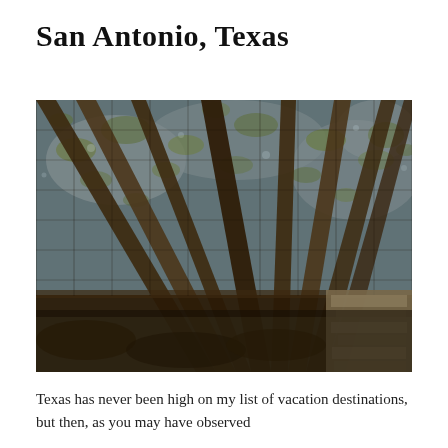San Antonio, Texas
[Figure (photo): Upward view through a pergola or trellis structure covered with dense bare tree branches and sparse green leaves, with light sky visible through the lattice. Stone wall visible at lower right.]
Texas has never been high on my list of vacation destinations, but then, as you may have observed